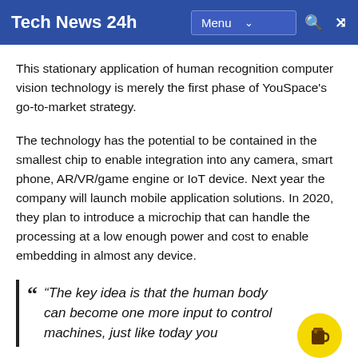Tech News 24h   Menu
This stationary application of human recognition computer vision technology is merely the first phase of YouSpace's go-to-market strategy.
The technology has the potential to be contained in the smallest chip to enable integration into any camera, smart phone, AR/VR/game engine or IoT device. Next year the company will launch mobile application solutions. In 2020, they plan to introduce a microchip that can handle the processing at a low enough power and cost to enable embedding in almost any device.
“The key idea is that the human body can become one more input to control machines, just like today you